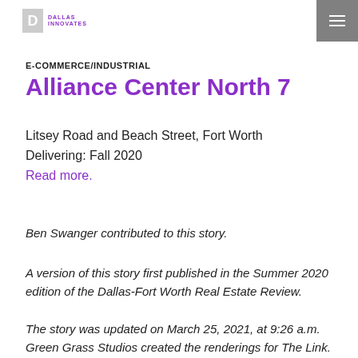DALLAS INNOVATES
E-COMMERCE/INDUSTRIAL
Alliance Center North 7
Litsey Road and Beach Street, Fort Worth
Delivering: Fall 2020
Read more.
Ben Swanger contributed to this story.
A version of this story first published in the Summer 2020 edition of the Dallas-Fort Worth Real Estate Review.
The story was updated on March 25, 2021, at 9:26 a.m. Green Grass Studios created the renderings for The Link.